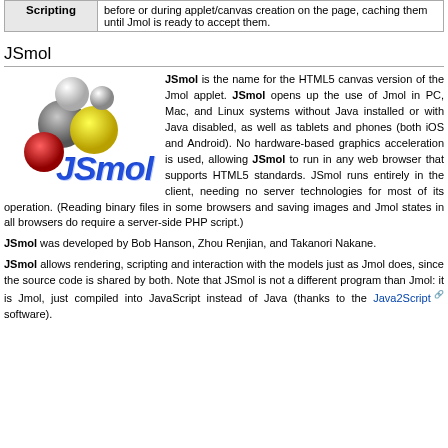| Scripting |  |
| --- | --- |
| Scripting | before or during applet/canvas creation on the page, caching them until Jmol is ready to accept them. |
JSmol
[Figure (logo): JSmol logo: molecule graphic with colored atom spheres alongside blue JSmol text in italic style]
JSmol is the name for the HTML5 canvas version of the Jmol applet. JSmol opens up the use of Jmol in PC, Mac, and Linux systems without Java installed or with Java disabled, as well as tablets and phones (both iOS and Android). No hardware-based graphics acceleration is used, allowing JSmol to run in any web browser that supports HTML5 standards. JSmol runs entirely in the client, needing no server technologies for most of its operation. (Reading binary files in some browsers and saving images and Jmol states in all browsers do require a server-side PHP script.)
JSmol was developed by Bob Hanson, Zhou Renjian, and Takanori Nakane.
JSmol allows rendering, scripting and interaction with the models just as Jmol does, since the source code is shared by both. Note that JSmol is not a different program than Jmol: it is Jmol, just compiled into JavaScript instead of Java (thanks to the Java2Script software).